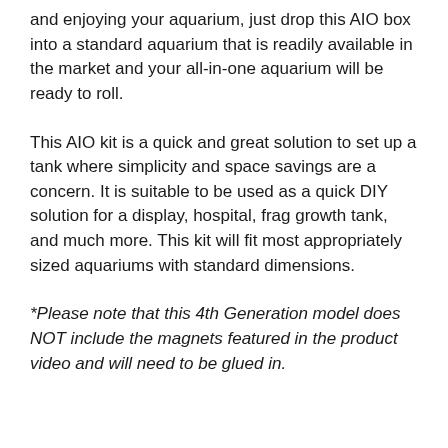and enjoying your aquarium, just drop this AIO box into a standard aquarium that is readily available in the market and your all-in-one aquarium will be ready to roll.
This AIO kit is a quick and great solution to set up a tank where simplicity and space savings are a concern. It is suitable to be used as a quick DIY solution for a display, hospital, frag growth tank, and much more. This kit will fit most appropriately sized aquariums with standard dimensions.
*Please note that this 4th Generation model does NOT include the magnets featured in the product video and will need to be glued in.